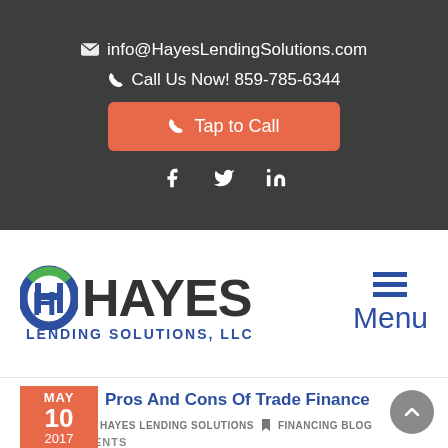✉ info@HayesLendingSolutions.com
☎ Call Us Now! 859-785-6344
Tap to Call
[Figure (logo): Hayes Lending Solutions, LLC logo with stylized H icon in blue and green]
Menu
Pros And Cons Of Trade Finance
MAY 10 2017
HAYES LENDING SOLUTIONS  FINANCING BLOG
0 COMMENTS